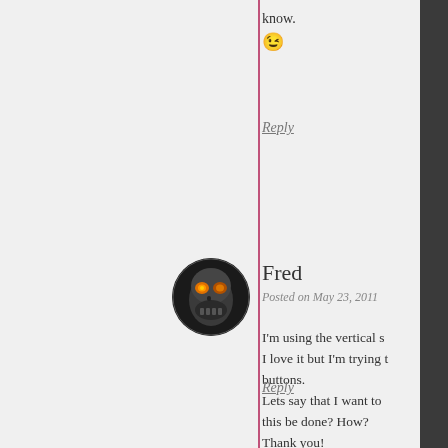know.
😉
Reply
[Figure (photo): Circular avatar image of a robotic/alien skull with glowing orange eyes, dark metallic appearance]
Fred
Posted on May 23, 2011
I'm using the vertical s I love it but I'm trying t buttons.
Lets say that I want to this be done? How?
Thank you!
Reply